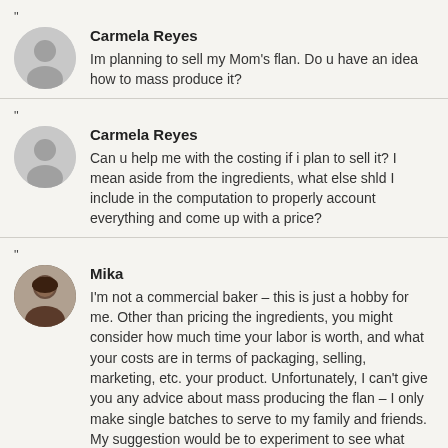"
Carmela Reyes
Im planning to sell my Mom's flan. Do u have an idea how to mass produce it?
"
Carmela Reyes
Can u help me with the costing if i plan to sell it? I mean aside from the ingredients, what else shld I include in the computation to properly account everything and come up with a price?
"
Mika
I'm not a commercial baker – this is just a hobby for me. Other than pricing the ingredients, you might consider how much time your labor is worth, and what your costs are in terms of packaging, selling, marketing, etc. your product. Unfortunately, I can't give you any advice about mass producing the flan – I only make single batches to serve to my family and friends. My suggestion would be to experiment to see what